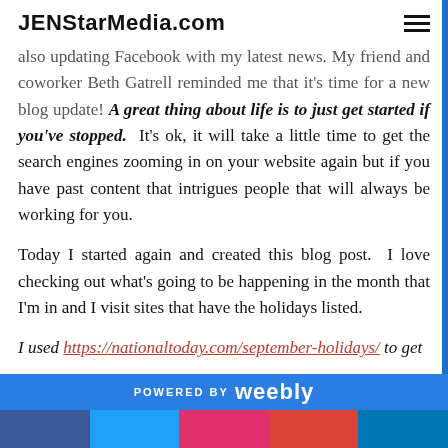JENStarMedia.com
also updating Facebook with my latest news. My friend and coworker Beth Gatrell reminded me that it's time for a new blog update! A great thing about life is to just get started if you've stopped.  It's ok, it will take a little time to get the search engines zooming in on your website again but if you have past content that intrigues people that will always be working for you.
Today I started again and created this blog post.  I love checking out what's going to be happening in the month that I'm in and I visit sites that have the holidays listed.
I used https://nationaltoday.com/september-holidays/ to get
POWERED BY weebly